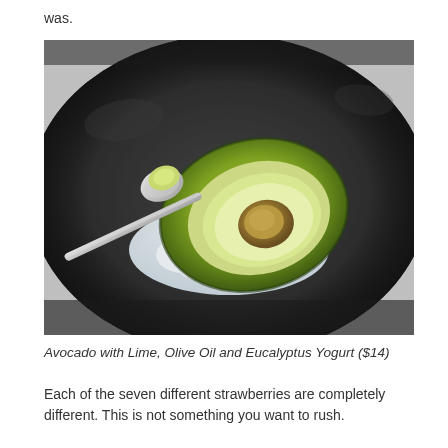was.
[Figure (photo): A halved avocado resting on crushed ice/salt on a dark slate plate, with a silver spoon holding a piece of avocado flesh beside it.]
Avocado with Lime, Olive Oil and Eucalyptus Yogurt ($14)
Each of the seven different strawberries are completely different. This is not something you want to rush.